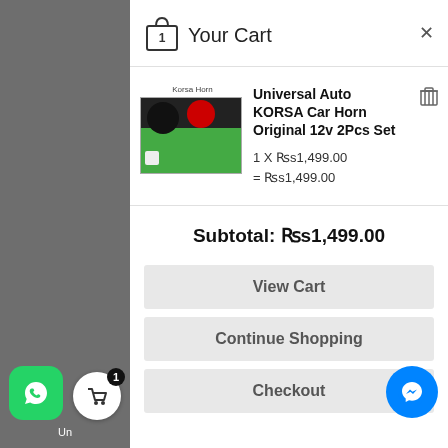Your Cart
[Figure (photo): Product image of Universal Auto KORSA Car Horn in green box, with label 'Korsa Horn']
Universal Auto KORSA Car Horn Original 12v 2Pcs Set
1 X Rs1,499.00
= Rs1,499.00
Subtotal: Rs1,499.00
View Cart
Continue Shopping
Checkout